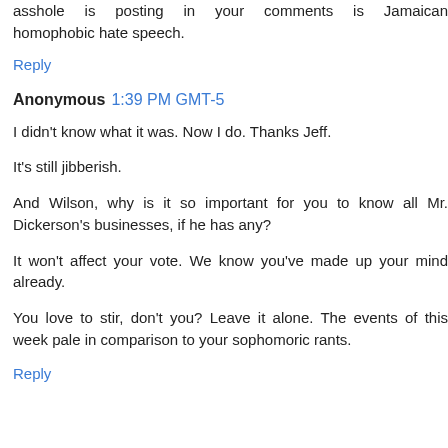asshole is posting in your comments is Jamaican homophobic hate speech.
Reply
Anonymous 1:39 PM GMT-5
I didn't know what it was. Now I do. Thanks Jeff.
It's still jibberish.
And Wilson, why is it so important for you to know all Mr. Dickerson's businesses, if he has any?
It won't affect your vote. We know you've made up your mind already.
You love to stir, don't you? Leave it alone. The events of this week pale in comparison to your sophomoric rants.
Reply